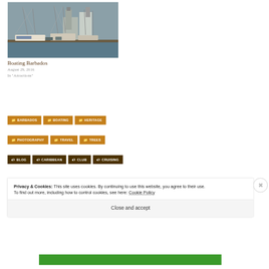[Figure (photo): Harbour/marina scene with sailboats and masts in foreground, colonial buildings and a church tower visible in the background, overcast sky]
Boating Barbados
August 29, 2016
In "Attractions"
BARBADOS
BOATING
HERITAGE
PHOTOGRAPHY
TRAVEL
TREES
BLOG
CARIBBEAN
CLUB
CRUISING
Privacy & Cookies: This site uses cookies. By continuing to use this website, you agree to their use.
To find out more, including how to control cookies, see here: Cookie Policy
Close and accept